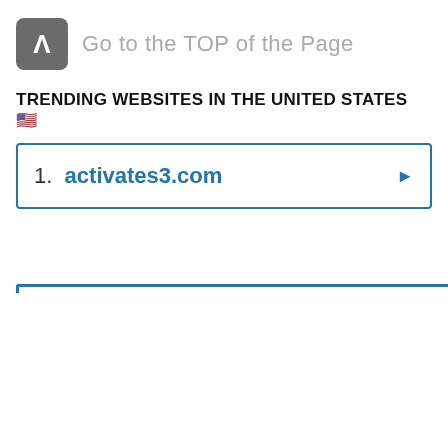Go to the TOP of the Page
TRENDING WEBSITES IN THE UNITED STATES 🇺🇸
1. activates3.com